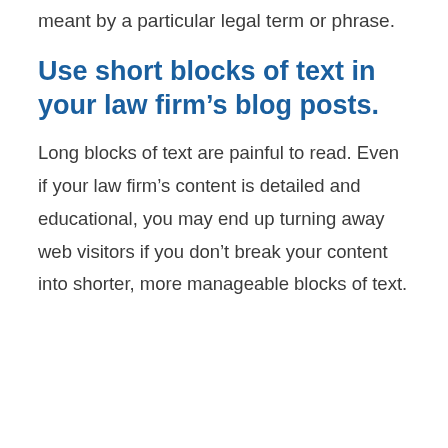meant by a particular legal term or phrase.
Use short blocks of text in your law firm’s blog posts.
Long blocks of text are painful to read. Even if your law firm’s content is detailed and educational, you may end up turning away web visitors if you don’t break your content into shorter, more manageable blocks of text.